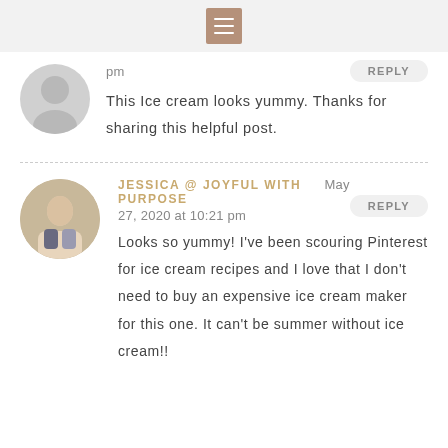Navigation menu icon
pm
This Ice cream looks yummy. Thanks for sharing this helpful post.
JESSICA @ JOYFUL WITH PURPOSE May 27, 2020 at 10:21 pm
Looks so yummy! I've been scouring Pinterest for ice cream recipes and I love that I don't need to buy an expensive ice cream maker for this one. It can't be summer without ice cream!!